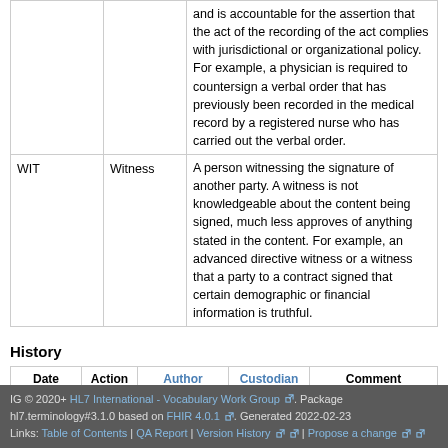| Code | Name | Description |
| --- | --- | --- |
| WIT | Witness | A person witnessing the signature of another party. A witness is not knowledgeable about the content being signed, much less approves of anything stated in the content. For example, an advanced directive witness or a witness that a party to a contract signed that certain demographic or financial information is truthful. |
History
| Date | Action | Author | Custodian | Comment |
| --- | --- | --- | --- | --- |
| 2020-10-14 | revise | Grahame Grieve | Vocabulary WG | Reset Version after migration to UTG |
| 2020-05-06 | revise | Ted Klein | Vocabulary WG | Migrated to the UTG maintenance environment and publishing tooling. |
IG © 2020+ HL7 International - Vocabulary Work Group. Package hl7.terminology#3.1.0 based on FHIR 4.0.1. Generated 2022-02-23 Links: Table of Contents | QA Report | Version History | Propose a change